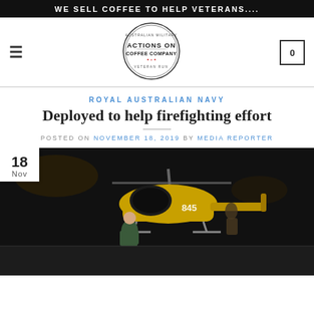WE SELL COFFEE TO HELP VETERANS....
[Figure (logo): Actions On Coffee Company logo - circular badge with text 'ACTIONS ON COFFEE COMPANY' and military/veteran imagery]
ROYAL AUSTRALIAN NAVY
Deployed to help firefighting effort
POSTED ON NOVEMBER 18, 2019 BY MEDIA REPORTER
[Figure (photo): Nighttime photo of a military helicopter pilot in green flight suit standing in front of a yellow helicopter (number 845) on a tarmac, with another person visible behind. Date badge showing 18 Nov overlaid on top-left corner.]